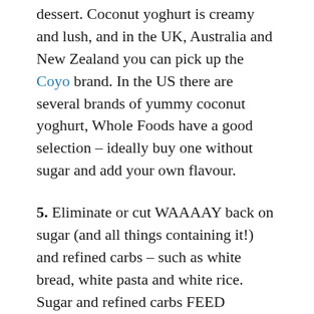dessert. Coconut yoghurt is creamy and lush, and in the UK, Australia and New Zealand you can pick up the Coyo brand. In the US there are several brands of yummy coconut yoghurt, Whole Foods have a good selection – ideally buy one without sugar and add your own flavour.
5. Eliminate or cut WAAAAY back on sugar (and all things containing it!) and refined carbs – such as white bread, white pasta and white rice. Sugar and refined carbs FEED candida, so it's best to reduce our intake of these as much as possible. Don't worry, wholegrain pasta and brown rice are just as tasty (and you will soon find them even tastier than their inferior versions!)